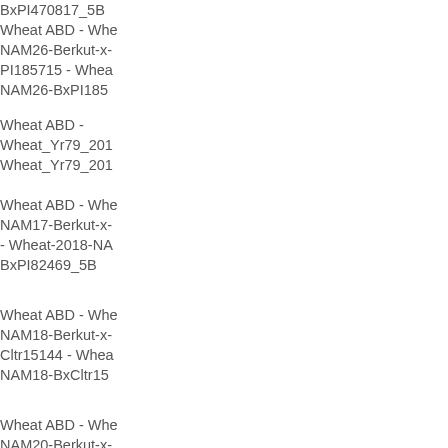BxPI470817_5B
Wheat ABD - Wheat-2018-NAM26-Berkut-x-PI185715 - Wheat-2018-NAM26-BxPI185715_5B
Wheat ABD - Wheat_Yr79_2021 - Wheat_Yr79_2021_5B
Wheat ABD - Wheat-2018-NAM17-Berkut-x-PI82469 - Wheat-2018-NAM17-BxPI82469_5B
Wheat ABD - Wheat-2018-NAM18-Berkut-x-Cltr15144 - Wheat-2018-NAM18-BxCltr15144_5B
Wheat ABD - Wheat-2018-NAM20-Berkut-x-PI94567 - Wheat-2018-NAM20-BxPI94567_5B
Wheat ABD - Wheat-2018-NAM1-Berkut-x-DharwarDry - Wheat-2018-NAM1-BxDharwarDry_5B
Wheat ABD - Wh...